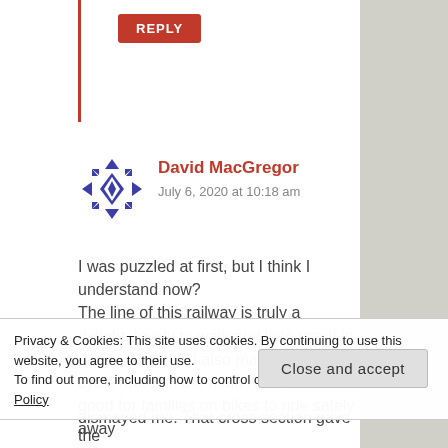REPLY
David MacGregor
July 6, 2020 at 10:18 am
I was puzzled at first, but I think I understand now?
The line of this railway is truly a delight, lovely to walk and lose yrself in nature. But it wld also make a good cycle route off the main road, would be good for families on bikes to ride safely away
Privacy & Cookies: This site uses cookies. By continuing to use this website, you agree to their use.
To find out more, including how to control cookies, see here: Cookie Policy
Close and accept
dismayed me. That cross section gave the